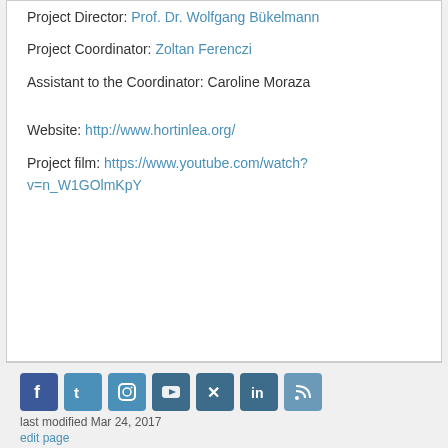Project Director: Prof. Dr. Wolfgang Bükelmann
Project Coordinator: Zoltan Ferenczi
Assistant to the Coordinator: Caroline Moraza
Website: http://www.hortinlea.org/
Project film: https://www.youtube.com/watch?v=n_W1GOlmKpY
[Figure (infographic): Social media icons: Facebook, Twitter, Instagram, YouTube, Xing, LinkedIn, RSS]
last modified Mar 24, 2017
edit page
Imprint   Data Privacy   Accessibility